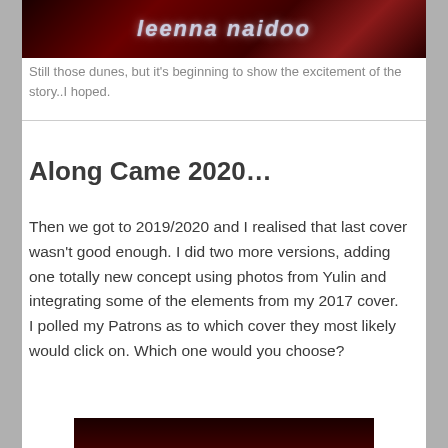[Figure (illustration): Dark red/crimson banner image with stylized text reading 'leenna naidoo' in a sci-fi/fantasy style font with glowing effect]
Still those dunes, but it's beginning to show the excitement of the story..I hoped.
Along Came 2020…
Then we got to 2019/2020 and I realised that last cover wasn't good enough. I did two more versions, adding one totally new concept using photos from Yulin and integrating some of the elements from my 2017 cover.
I polled my Patrons as to which cover they most likely would click on. Which one would you choose?
[Figure (photo): Partial view of a book cover image at the bottom of the page, dark background]